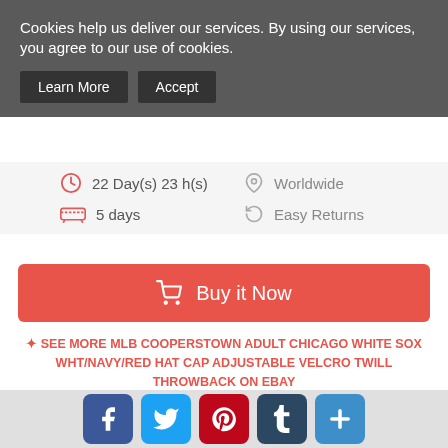Cookies help us deliver our services. By using our services, you agree to our use of cookies.
Learn More | Accept
22 Day(s) 23 h(s)
Worldwide
5 days
Easy Returns
Buy it Now
✦ SEE MORE MLB COOPERSTOWN ADULT CHICAGO WHITE SOX WHT/NAVY/RED HAT CAP ADJUSTABLE VELCRO TWILL THROWBACK ON EBAY
Baseball
Arizona Diamondbacks (458)
Atlanta Braves (518)